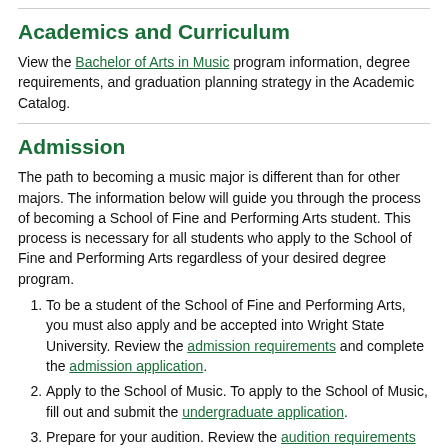Academics and Curriculum
View the Bachelor of Arts in Music program information, degree requirements, and graduation planning strategy in the Academic Catalog.
Admission
The path to becoming a music major is different than for other majors. The information below will guide you through the process of becoming a School of Fine and Performing Arts student. This process is necessary for all students who apply to the School of Fine and Performing Arts regardless of your desired degree program.
To be a student of the School of Fine and Performing Arts, you must also apply and be accepted into Wright State University. Review the admission requirements and complete the admission application.
Apply to the School of Music. To apply to the School of Music, fill out and submit the undergraduate application.
Prepare for your audition. Review the audition requirements for your instrument and detailed information about your audition